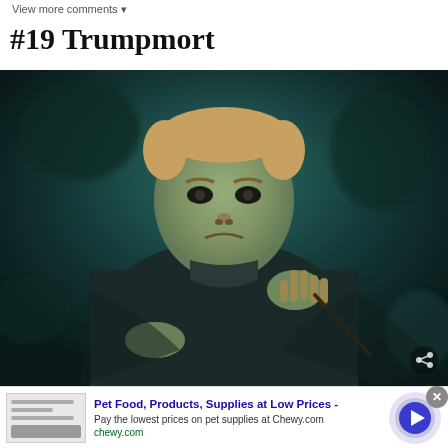View more comments ▼
#19 Trumpmort
[Figure (photo): A photo-edited image showing Donald Trump's face superimposed on Voldemort's body from Harry Potter, set against a dark teal background. The figure is in dark robes and appears to be holding a wand.]
Pet Food, Products, Supplies at Low Prices -
Pay the lowest prices on pet supplies at Chewy.com
chewy.com